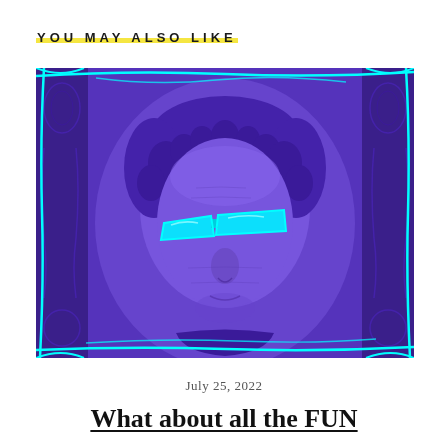YOU MAY ALSO LIKE
[Figure (illustration): Stylized pop-art image of George Washington from the US dollar bill with cyan/turquoise neon sunglasses overlay on a purple/violet background with cyan neon border lines and decorative engraving details]
July 25, 2022
What about all the FUN